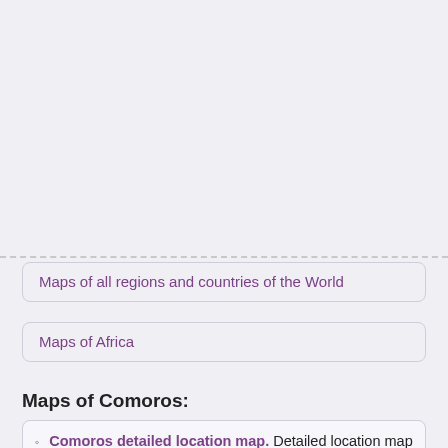Maps of all regions and countries of the World
Maps of Africa
Maps of Comoros:
Comoros detailed location map. Detailed location map of Comoros.
Detailed physical map of Comoros with cities, roads and airports.
Detailed political and administrative map of Comoros with cities, roads and airports.